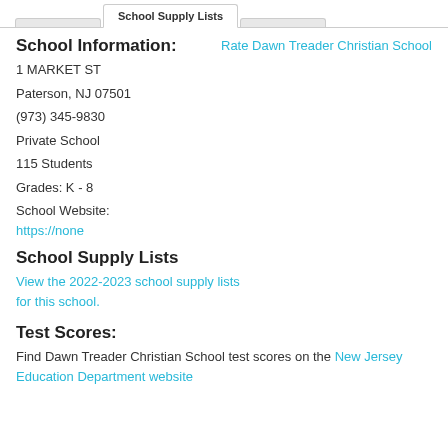School Supply Lists
School Information:
Rate Dawn Treader Christian School
1 MARKET ST
Paterson, NJ 07501
(973) 345-9830
Private School
115 Students
Grades: K - 8
School Website:
https://none
School Supply Lists
View the 2022-2023 school supply lists for this school.
Test Scores:
Find Dawn Treader Christian School test scores on the New Jersey Education Department website